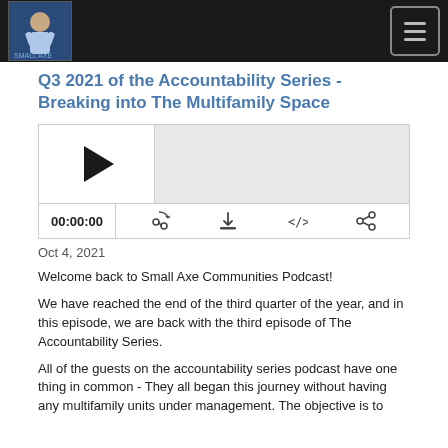Small Axe Communities Podcast header navigation
Q3 2021 of the Accountability Series - Breaking into The Multifamily Space
[Figure (other): Podcast audio player with play button, progress bar, time display 00:00:00, and control icons (cast, download, embed, share)]
Oct 4, 2021
Welcome back to Small Axe Communities Podcast!
We have reached the end of the third quarter of the year, and in this episode, we are back with the third episode of The Accountability Series.
All of the guests on the accountability series podcast have one thing in common - They all began this journey without having any multifamily units under management. The objective is to